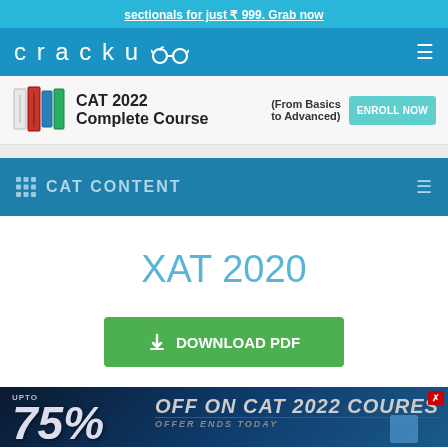sectionals for just ₹ 999. Grab now
[Figure (logo): Cracku logo with graduation cap icon in white on blue navbar background with hamburger menu icon]
[Figure (infographic): CAT 2022 Complete Course advertisement banner with book icons, subtitle 'From Basics to Advanced' and 'ENROLL NOW' button]
CAT CONTENT
XAT 2020
DOWNLOAD PDF
UPTO 75% OFF ON CAT 2022 COURES OFFER ENDS TODAY